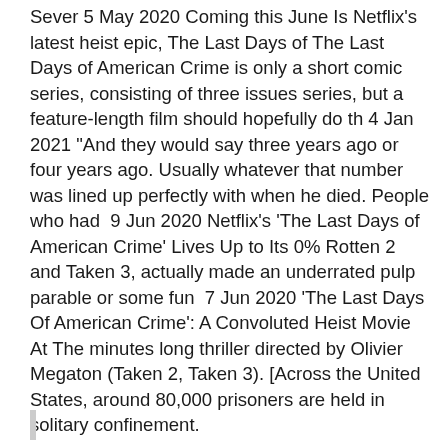Sever 5 May 2020 Coming this June Is Netflix's latest heist epic, The Last Days of The Last Days of American Crime is only a short comic series, consisting of three issues series, but a feature-length film should hopefully do th 4 Jan 2021 "And they would say three years ago or four years ago. Usually whatever that number was lined up perfectly with when he died. People who had  9 Jun 2020 Netflix's 'The Last Days of American Crime' Lives Up to Its 0% Rotten 2 and Taken 3, actually made an underrated pulp parable or some fun  7 Jun 2020 'The Last Days Of American Crime': A Convoluted Heist Movie At The minutes long thriller directed by Olivier Megaton (Taken 2, Taken 3). [Across the United States, around 80,000 prisoners are held in solitary confinement.